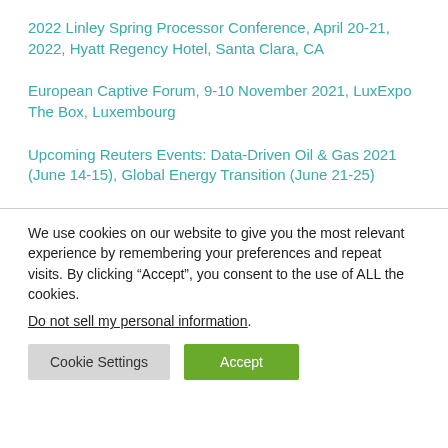2022 Linley Spring Processor Conference, April 20-21, 2022, Hyatt Regency Hotel, Santa Clara, CA
European Captive Forum, 9-10 November 2021, LuxExpo The Box, Luxembourg
Upcoming Reuters Events: Data-Driven Oil & Gas 2021 (June 14-15), Global Energy Transition (June 21-25)
We use cookies on our website to give you the most relevant experience by remembering your preferences and repeat visits. By clicking “Accept”, you consent to the use of ALL the cookies.
Do not sell my personal information.